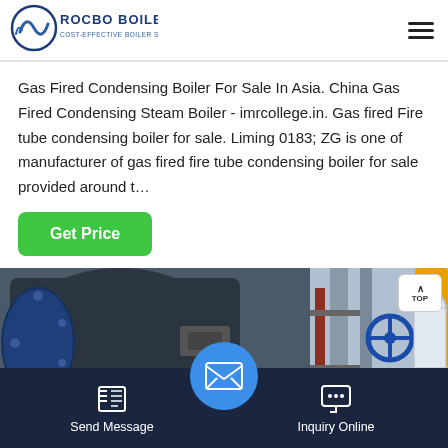[Figure (logo): Rocbo Boiler logo - circular blue wave icon with text 'ROCBO BOILER' and subtitle 'COST-EFFECTIVE BOILER SUPPLIER']
Gas Fired Condensing Boiler For Sale In Asia. China Gas Fired Condensing Steam Boiler - imrcollege.in. Gas fired Fire tube condensing boiler for sale. Liming 0183; ZG is one of manufacturer of gas fired fire tube condensing boiler for sale provided around t…
[Figure (photo): Industrial gas fired condensing boilers in a facility — large dark cylindrical boiler vessels with blue end caps on the left, and silver industrial piping with blue valve wheels and yellow pipe on the right]
Send Message | Inquiry Online